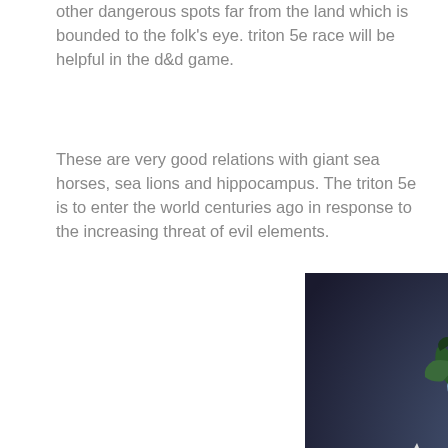other dangerous spots far from the land which is bounded to the folk's eye. triton 5e race will be helpful in the d&d game.
These are very good relations with giant sea horses, sea lions and hippocampus. The triton 5e is to enter the world centuries ago in response to the increasing threat of evil elements.
[Figure (illustration): Fantasy illustration of a blue-skinned triton warrior with dark green hair, pointed ears, wearing a wrap skirt, holding a large sword, depicted in a dynamic action pose emerging from water/waves.]